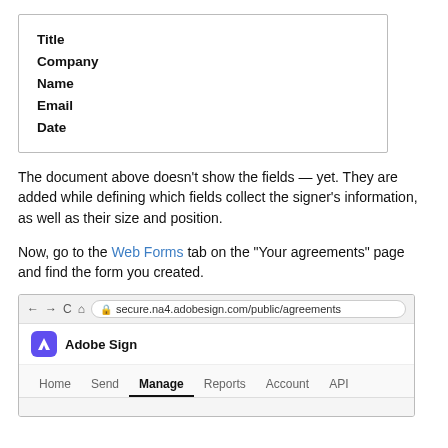| Title |
| Company |
| Name |
| Email |
| Date |
The document above doesn't show the fields — yet. They are added while defining which fields collect the signer's information, as well as their size and position.
Now, go to the Web Forms tab on the "Your agreements" page and find the form you created.
[Figure (screenshot): Browser screenshot showing Adobe Sign page at secure.na4.adobesign.com/public/agreements with navigation tabs: Home, Send, Manage (active), Reports, Account, API]